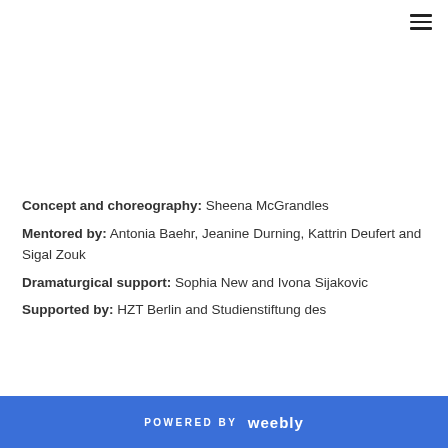Concept and choreography: Sheena McGrandles
Mentored by: Antonia Baehr, Jeanine Durning, Kattrin Deufert and Sigal Zouk
Dramaturgical support: Sophia New and Ivona Sijakovic
Supported by: HZT Berlin and Studienstiftung des
POWERED BY weebly